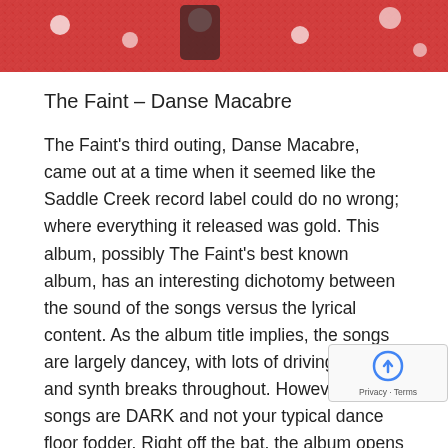[Figure (photo): Partial view of album artwork showing red and white pattern with dark elements, cropped at top of page]
The Faint – Danse Macabre
The Faint's third outing, Danse Macabre, came out at a time when it seemed like the Saddle Creek record label could do no wrong; where everything it released was gold. This album, possibly The Faint's best known album, has an interesting dichotomy between the sound of the songs versus the lyrical content. As the album title implies, the songs are largely dancey, with lots of driving beats and synth breaks throughout. However, these songs are DARK and not your typical dance floor fodder. Right off the bat, the album opens with Agenda Suicide, a song about people working themselves to death to maintain a certain lifestyle. Blaring synths, beats that could get any crowd jumping, and possibly the best whispered screaming recorded, all set the tone for the next eight t... It's dire, but not to make you depressed or offer console because your mom took your Switch away. No